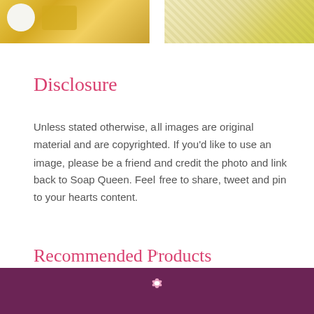[Figure (photo): Two cropped product photos side by side: left shows yellow/gold soap or wax product with containers, right shows yellow granules or crumbled soap material]
Disclosure
Unless stated otherwise, all images are original material and are copyrighted. If you’d like to use an image, please be a friend and credit the photo and link back to Soap Queen. Feel free to share, tweet and pin to your hearts content.
Recommended Products